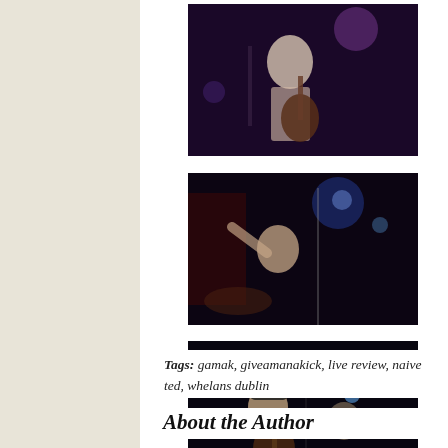[Figure (photo): Concert photo of a guitarist performing on stage under purple and blue stage lighting, wearing a white t-shirt]
[Figure (photo): Concert photo of a drummer or musician on stage under blue lighting with red background elements visible]
[Figure (photo): Concert photo of band members performing on stage with blue sparkle lights visible in background]
Tags: gamak, giveamanakick, live review, naive ted, whelans dublin
About the Author